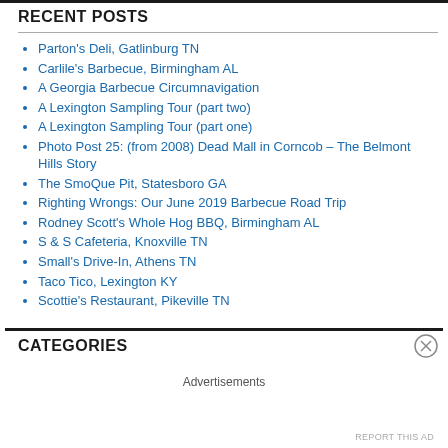RECENT POSTS
Parton's Deli, Gatlinburg TN
Carlile's Barbecue, Birmingham AL
A Georgia Barbecue Circumnavigation
A Lexington Sampling Tour (part two)
A Lexington Sampling Tour (part one)
Photo Post 25: (from 2008) Dead Mall in Corncob – The Belmont Hills Story
The SmoQue Pit, Statesboro GA
Righting Wrongs: Our June 2019 Barbecue Road Trip
Rodney Scott's Whole Hog BBQ, Birmingham AL
S &S Cafeteria, Knoxville TN
Small's Drive-In, Athens TN
Taco Tico, Lexington KY
Scottie's Restaurant, Pikeville TN
CATEGORIES
Advertisements